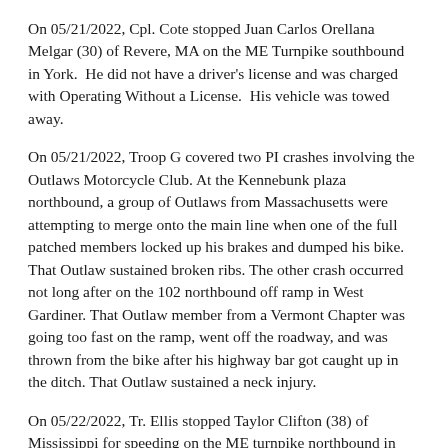On 05/21/2022, Cpl. Cote stopped Juan Carlos Orellana Melgar (30) of Revere, MA on the ME Turnpike southbound in York.  He did not have a driver's license and was charged with Operating Without a License.  His vehicle was towed away.
On 05/21/2022, Troop G covered two PI crashes involving the Outlaws Motorcycle Club. At the Kennebunk plaza northbound, a group of Outlaws from Massachusetts were attempting to merge onto the main line when one of the full patched members locked up his brakes and dumped his bike. That Outlaw sustained broken ribs. The other crash occurred not long after on the 102 northbound off ramp in West Gardiner. That Outlaw member from a Vermont Chapter was going too fast on the ramp, went off the roadway, and was thrown from the bike after his highway bar got caught up in the ditch. That Outlaw sustained a neck injury.
On 05/22/2022, Tr. Ellis stopped Taylor Clifton (38) of Mississippi for speeding on the ME turnpike northbound in Wells. He was found to have a suspended license. He was charged with operating without a license. The vehicle was towed away.